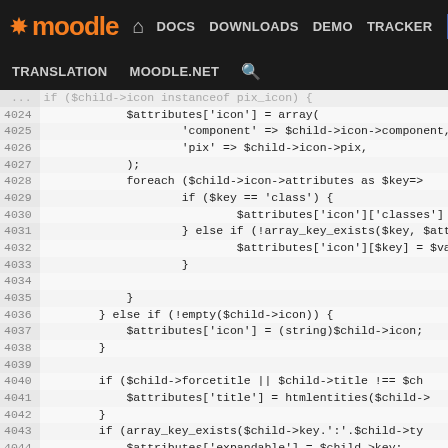Moodle - DOCS DOWNLOADS DEMO TRACKER DEV - TRANSLATION MOODLE.NET
4024-4049: PHP source code showing $attributes['icon'] array construction, foreach loop over $child->icon->attributes, else if conditions, forcetitle check, array_key_exists, expandable, and count($child->classes) logic